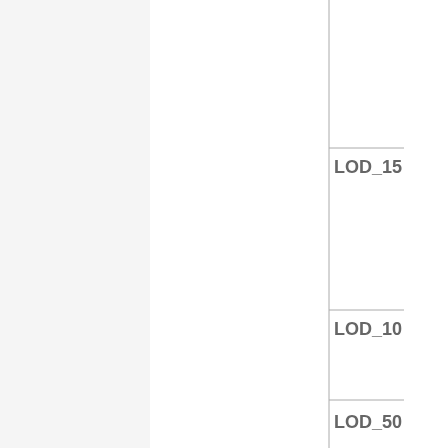[Figure (schematic): Partial view of a LOD (Level of Detail) diagram showing a vertical axis line with three horizontal tick marks labeled LOD_15, LOD_10, and LOD_50 at different vertical positions. The right side shows labels cut off at the page edge.]